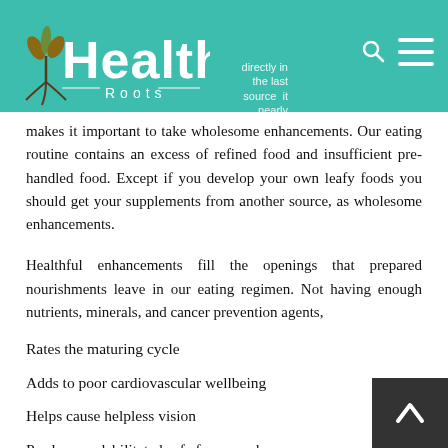Healthy Roots
makes it important to take wholesome enhancements. Our eating routine contains an excess of refined food and insufficient pre-handled food. Except if you develop your own leafy foods you should get your supplements from another source, as wholesome enhancements.
Healthful enhancements fill the openings that prepared nourishments leave in our eating regimen. Not having enough nutrients, minerals, and cancer prevention agents,
Rates the maturing cycle
Adds to poor cardiovascular wellbeing
Helps cause helpless vision
Produces a debilitated safe framework.
Numerous variables cause degeneration of your body's cells, variables are